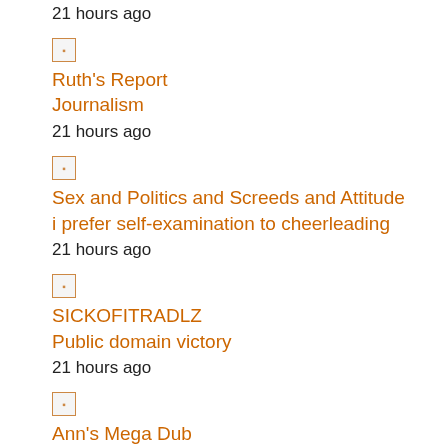21 hours ago
[Figure (other): Small icon box with square dot]
Ruth's Report
Journalism
21 hours ago
[Figure (other): Small icon box with square dot]
Sex and Politics and Screeds and Attitude
i prefer self-examination to cheerleading
21 hours ago
[Figure (other): Small icon box with square dot]
SICKOFITRADLZ
Public domain victory
21 hours ago
[Figure (other): Small icon box with square dot]
Ann's Mega Dub
They're pirating The Rump Queen
21 hours ago
[Figure (other): Small icon box with square dot]
Kat's Korner (of The Common Ills)
Jody Watley's going on tour